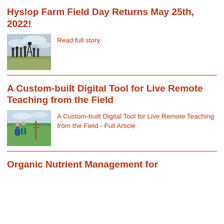Hyslop Farm Field Day Returns May 25th, 2022!
Read full story
[Figure (photo): Group of people standing in an open field with a camera/tripod, cloudy sky]
A Custom-built Digital Tool for Live Remote Teaching from the Field
A Custom-built Digital Tool for Live Remote Teaching from the Field - Full Article
[Figure (photo): Two people standing in a green agricultural field near a fencepost]
Organic Nutrient Management for